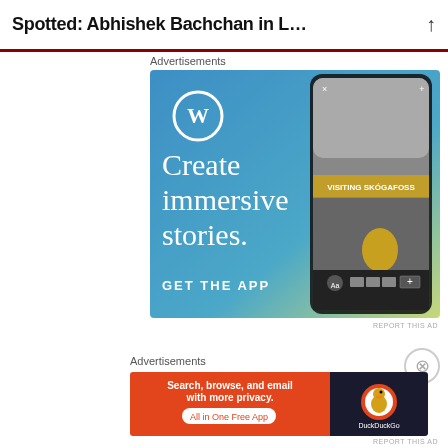Spotted: Abhishek Bachchan in L…
Advertisements
[Figure (photo): WordPress advertisement: blue-to-green gradient background with WordPress logo (W in circle), large white serif text 'Create immersive stories.', 'GET THE APP' text in white, and a smartphone mockup showing a travel story about visiting Skógafoss waterfall]
REPORT THIS AD
Advertisements
[Figure (photo): DuckDuckGo advertisement: orange/red left panel with white text 'Search, browse, and email with more privacy. All in One Free App' and dark right panel with DuckDuckGo duck logo and brand name]